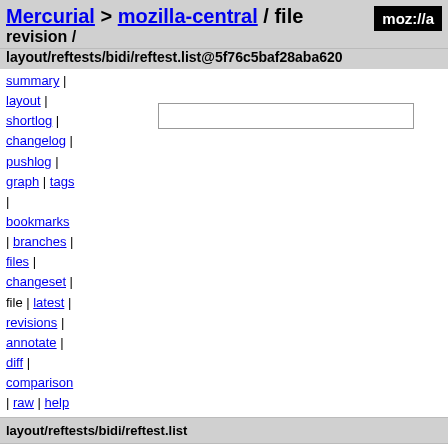Mercurial > mozilla-central / file revision /
layout/reftests/bidi/reftest.list@5f76c5baf28aba620
summary | layout | shortlog | changelog | pushlog | graph | tags | | bookmarks | branches | files | changeset | file | latest | revisions | annotate | diff | comparison | raw | help
layout/reftests/bidi/reftest.list
| field | value |
| --- | --- |
| author | Jonathan Kew <jkew@mozilla.com> |
|  | Tue, 23 May 2017 15:21:54 +0100 (2017-05-23) |
| changeset 360206 | 5f76c5baf28aba6205273330b1f10321aae29cec |
| parent 359905 | ab4e65106302cb9f55f8a0269aca4a7249ababf5 |
| child 360207 | d90c91b76b8ebc76805599e39bc6cec681260add |
| permissions | -rw-r--r-- |